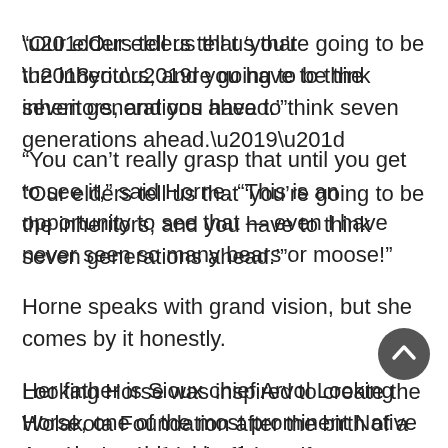“Our elders tell us that ‘you’re going to be the inheritors, and you have to think seven generations ahead.’”
“You can’t really grasp that until you get to see it,” said Horne. “This is an opportunity to see that — even I have never seen so many bears or moose!”
Horne speaks with grand vision, but she comes by it honestly.
Her father is Sioux chief Arvol Looking Horse, one of the most prominent Native American spiritual leaders.
[Figure (other): Back-to-top button: dark circular button with upward chevron arrow icon]
Looking Horse was inspired to create the Wolakota Foundation after the birth of a prophesized white buffalo calf